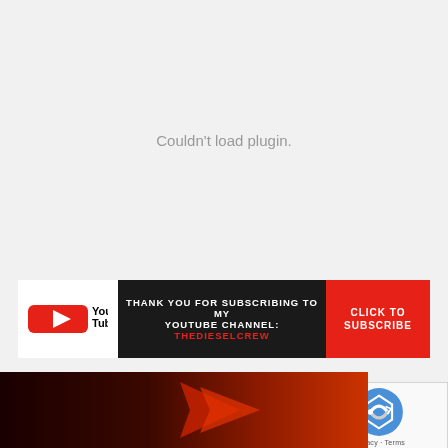Couldn't load plugin.
[Figure (screenshot): YouTube subscribe banner: white YouTube logo on left, dark background with text 'THANK YOU FOR SUBSCRIBING TO MY YOUTUBE CHANNEL: THEDIESELCREW' in center, red 'CLICK TO SUBSCRIBE' button on right]
[Figure (screenshot): reCAPTCHA widget with logo and Privacy/Terms text]
[Figure (screenshot): Combat Core banner: red background with arrow graphic, text 'RIPPED CORE TRAINING' and 'Six Pack Core Training Workouts']